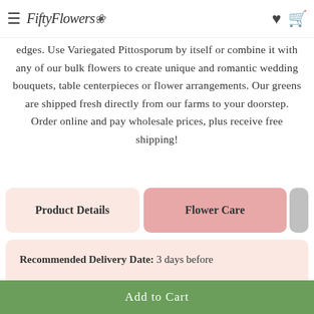FiftyFlowers
edges. Use Variegated Pittosporum by itself or combine it with any of our bulk flowers to create unique and romantic wedding bouquets, table centerpieces or flower arrangements. Our greens are shipped fresh directly from our farms to your doorstep. Order online and pay wholesale prices, plus receive free shipping!
Product Details
Flower Care
Recommended Delivery Date: 3 days before your event
Add to Cart